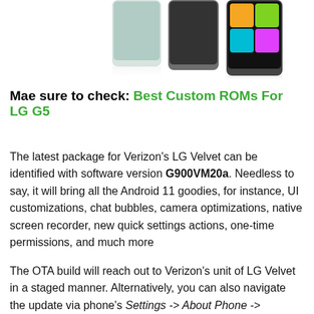[Figure (photo): Partial image of LG Velvet smartphone at top of page]
Mae sure to check: Best Custom ROMs For LG G5
The latest package for Verizon's LG Velvet can be identified with software version G900VM20a. Needless to say, it will bring all the Android 11 goodies, for instance, UI customizations, chat bubbles, camera optimizations, native screen recorder, new quick settings actions, one-time permissions, and much more
The OTA build will reach out to Verizon's unit of LG Velvet in a staged manner. Alternatively, you can also navigate the update via phone's Settings -> About Phone -> Software updates -> Check for Update, if the update pops up Click on Download and install